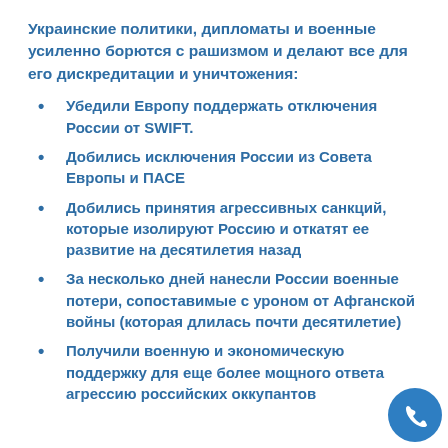Украинские политики, дипломаты и военные усиленно борются с рашизмом и делают все для его дискредитации и уничтожения:
Убедили Европу поддержать отключения России от SWIFT.
Добились исключения России из Совета Европы и ПАСЕ
Добились принятия агрессивных санкций, которые изолируют Россию и откатят ее развитие на десятилетия назад
За несколько дней нанесли России военные потери, сопоставимые с уроном от Афганской войны (которая длилась почти десятилетие)
Получили военную и экономическую поддержку для еще более мощного ответа агрессию российских оккупантов